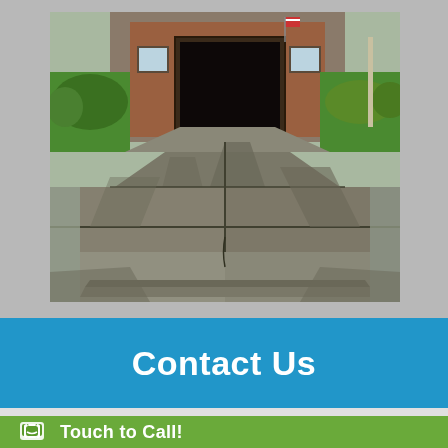[Figure (photo): Photograph of a concrete driveway leading up to a brick house with an open garage door. The driveway has expansion joints visible and shows tree shadow patterns. American flag visible on the garage. Green lawn and landscaping on both sides.]
Contact Us
Touch to Call!